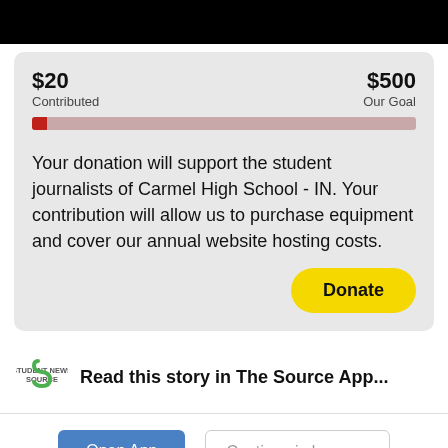[Figure (infographic): Fundraising progress bar showing $20 contributed out of $500 goal, with a red filled portion on the left and a pinkish-red unfilled bar extending to the right.]
Your donation will support the student journalists of Carmel High School - IN. Your contribution will allow us to purchase equipment and cover our annual website hosting costs.
Donate
[Figure (logo): Student News Source app logo — green stylized S shape with 'STUDENT NEWS SOURCE' text below]
Read this story in The Source App...
Open App
Continue in browser